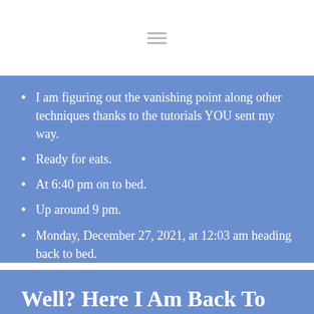I am figuring out the vanishing point along other techniques thanks to the tutorials YOU sent my way.
Ready for eats.
At 6:40 pm on to bed.
Up around 9 pm.
Monday, December 27, 2021, at 12:03 am heading back to bed.
Well? Here I Am Back To The Numbers 4 & 37 At 4:37 Am ...?